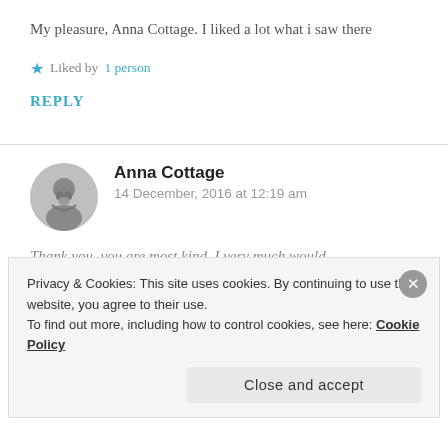My pleasure, Anna Cottage. I liked a lot what i saw there
★ Liked by 1 person
REPLY
Anna Cottage
14 December, 2016 at 12:19 am
Thank you, you are most kind. I very much would
Privacy & Cookies: This site uses cookies. By continuing to use this website, you agree to their use.
To find out more, including how to control cookies, see here: Cookie Policy
Close and accept